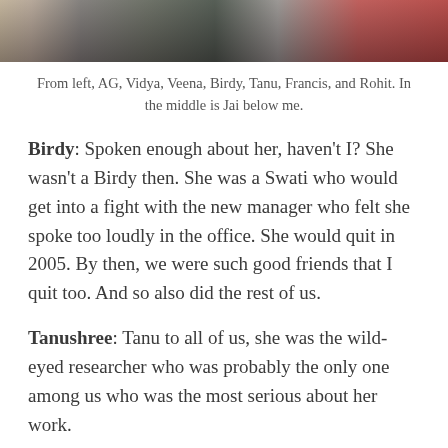[Figure (photo): Top portion of a group photo showing several people, cropped at the top of the page.]
From left, AG, Vidya, Veena, Birdy, Tanu, Francis, and Rohit. In the middle is Jai below me.
Birdy: Spoken enough about her, haven't I? She wasn't a Birdy then. She was a Swati who would get into a fight with the new manager who felt she spoke too loudly in the office. She would quit in 2005. By then, we were such good friends that I quit too. And so also did the rest of us.
Tanushree: Tanu to all of us, she was the wild-eyed researcher who was probably the only one among us who was the most serious about her work.
Raghu: Rags was the one with the most experience